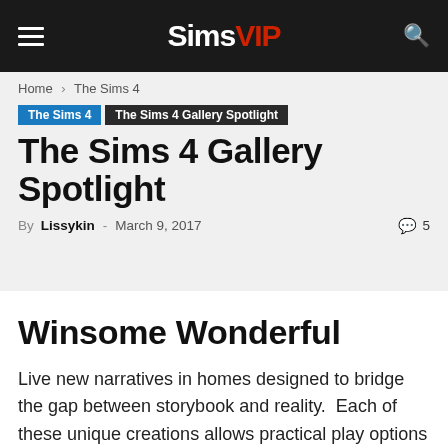SimsVIP
Home › The Sims 4
The Sims 4   The Sims 4 Gallery Spotlight
The Sims 4 Gallery Spotlight
By Lissykin - March 9, 2017   💬 5
Winsome Wonderful
Live new narratives in homes designed to bridge the gap between storybook and reality.  Each of these unique creations allows practical play options in delightful